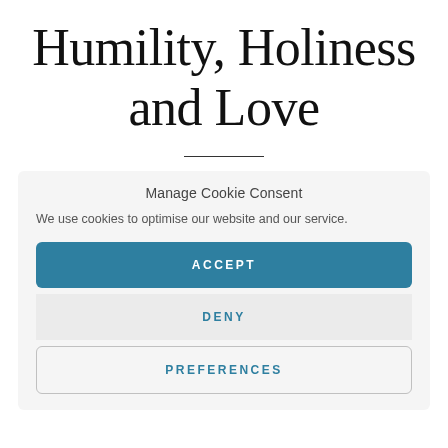Humility, Holiness and Love
Manage Cookie Consent
We use cookies to optimise our website and our service.
ACCEPT
DENY
PREFERENCES